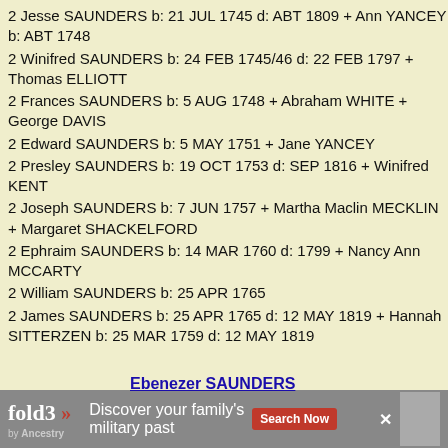2 Jesse SAUNDERS b: 21 JUL 1745 d: ABT 1809 + Ann YANCEY b: ABT 1748
2 Winifred SAUNDERS b: 24 FEB 1745/46 d: 22 FEB 1797 + Thomas ELLIOTT
2 Frances SAUNDERS b: 5 AUG 1748 + Abraham WHITE + George DAVIS
2 Edward SAUNDERS b: 5 MAY 1751 + Jane YANCEY
2 Presley SAUNDERS b: 19 OCT 1753 d: SEP 1816 + Winifred KENT
2 Joseph SAUNDERS b: 7 JUN 1757 + Martha Maclin MECKLIN + Margaret SHACKELFORD
2 Ephraim SAUNDERS b: 14 MAR 1760 d: 1799 + Nancy Ann MCCARTY
2 William SAUNDERS b: 25 APR 1765
2 James SAUNDERS b: 25 APR 1765 d: 12 MAY 1819 + Hannah SITTERZEN b: 25 MAR 1759 d: 12 MAY 1819
Edward (1626 -
Ebenezer SAUNDERS